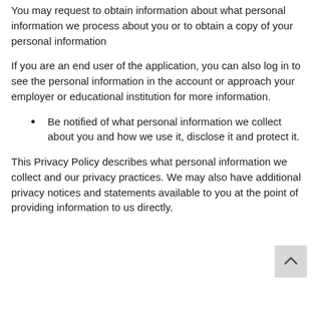You may request to obtain information about what personal information we process about you or to obtain a copy of your personal information
If you are an end user of the application, you can also log in to see the personal information in the account or approach your employer or educational institution for more information.
Be notified of what personal information we collect about you and how we use it, disclose it and protect it.
This Privacy Policy describes what personal information we collect and our privacy practices. We may also have additional privacy notices and statements available to you at the point of providing information to us directly.